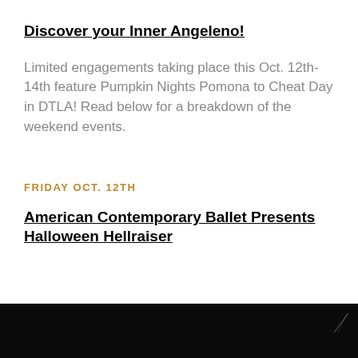Discover your Inner Angeleno!
Limited engagements taking place this Oct. 12th-14th feature Pumpkin Nights Pomona to Cheat Day in DTLA! Read below for a breakdown of the weekend events.
FRIDAY OCT. 12TH
American Contemporary Ballet Presents Halloween Hellraiser
[Figure (photo): Dark/black photographic image at bottom of page, partially cropped, showing a dimly lit scene with faint light streaks in the upper right.]